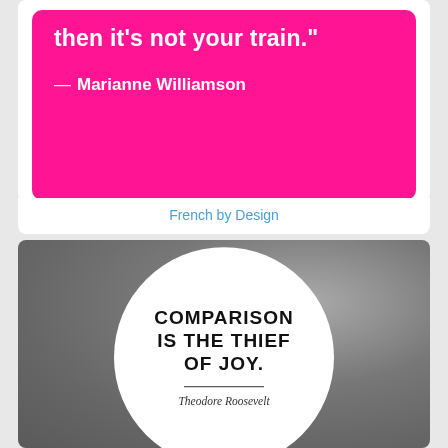[Figure (illustration): Pink/magenta rounded card with white bold text showing partial quote ending in 'then it's not your train.' attributed to Marianne Williamson]
French by Design
[Figure (illustration): Gray textured background with large white circle containing bold uppercase text 'COMPARISON IS THE THIEF OF JOY.' with italic attribution 'Theodore Roosevelt' below a horizontal rule]